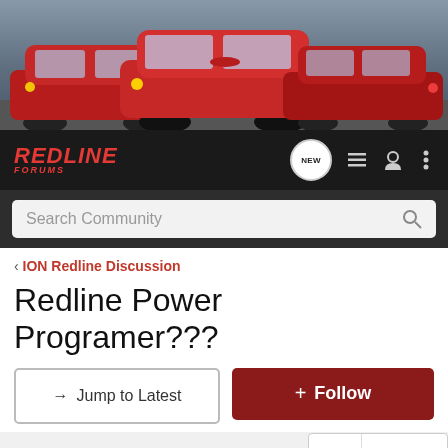[Figure (photo): Banner photo showing three red cars parked in a lot, against a corrugated metal background]
[Figure (logo): RedLine Forums logo in red italic text with 'FORUMS' subtitle, on dark background. Navigation icons include NEW speech bubble, list, user, and menu icons.]
Search Community
< ION Redline Discussion
Redline Power Programer???
→ Jump to Latest
+ Follow
1 - 20 of 40 Posts
1 of 2 ►
mombo · Registered